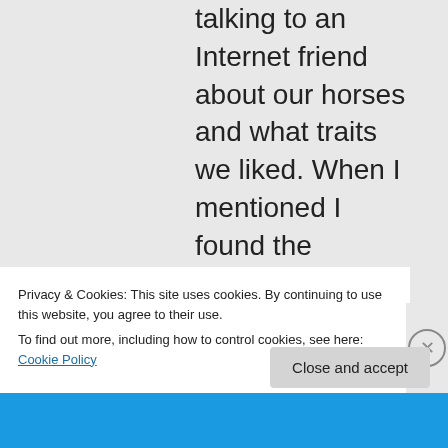talking to an Internet friend about our horses and what traits we liked. When I mentioned I found the massive QH butt on the otherwise TB body of my mare both amusing and adorable, he mentioned his
Privacy & Cookies: This site uses cookies. By continuing to use this website, you agree to their use.
To find out more, including how to control cookies, see here: Cookie Policy